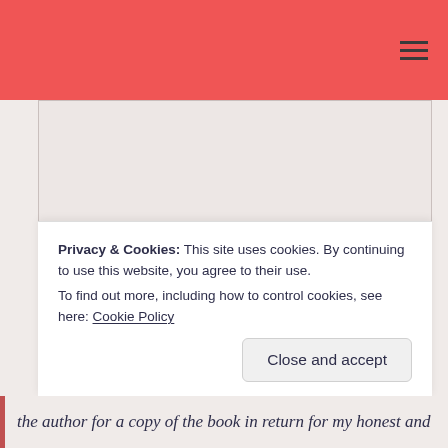[Figure (other): Large blank content/advertisement area with pinkish-beige background]
Privacy & Cookies: This site uses cookies. By continuing to use this website, you agree to their use.
To find out more, including how to control cookies, see here: Cookie Policy
Close and accept
the author for a copy of the book in return for my honest and